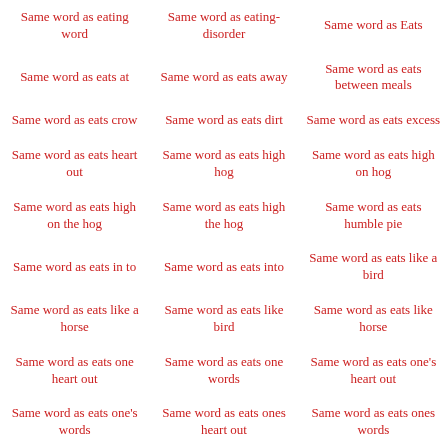Same word as eating word
Same word as eating-disorder
Same word as Eats
Same word as eats at
Same word as eats away
Same word as eats between meals
Same word as eats crow
Same word as eats dirt
Same word as eats excess
Same word as eats heart out
Same word as eats high hog
Same word as eats high on hog
Same word as eats high on the hog
Same word as eats high the hog
Same word as eats humble pie
Same word as eats in to
Same word as eats into
Same word as eats like a bird
Same word as eats like a horse
Same word as eats like bird
Same word as eats like horse
Same word as eats one heart out
Same word as eats one words
Same word as eats one's heart out
Same word as eats one's words
Same word as eats ones heart out
Same word as eats ones words